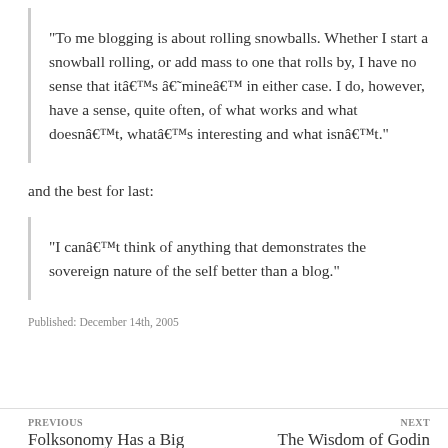“To me blogging is about rolling snowballs. Whether I start a snowball rolling, or add mass to one that rolls by, I have no sense that itâ€™s â€˜mineâ€™ in either case. I do, however, have a sense, quite often, of what works and what doesnâ€™t, whatâ€™s interesting and what isnâ€™t.”
and the best for last:
“I canâ€™t think of anything that demonstrates the sovereign nature of the self better than a blog.”
Published: December 14th, 2005
PREVIOUS
Folksonomy Has a Big
NEXT
The Wisdom of Godin